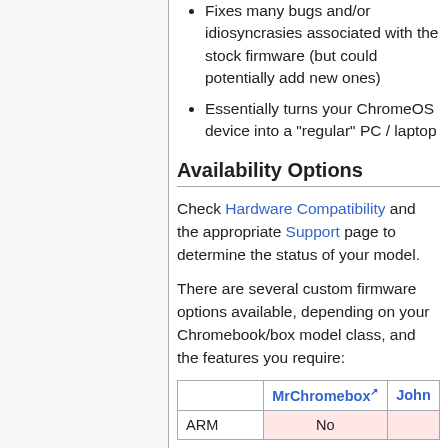Fixes many bugs and/or idiosyncrasies associated with the stock firmware (but could potentially add new ones)
Essentially turns your ChromeOS device into a "regular" PC / laptop
Availability Options
Check Hardware Compatibility and the appropriate Support page to determine the status of your model.
There are several custom firmware options available, depending on your Chromebook/box model class, and the features you require:
|  | MrChromebox | John |
| --- | --- | --- |
| ARM | No |  |